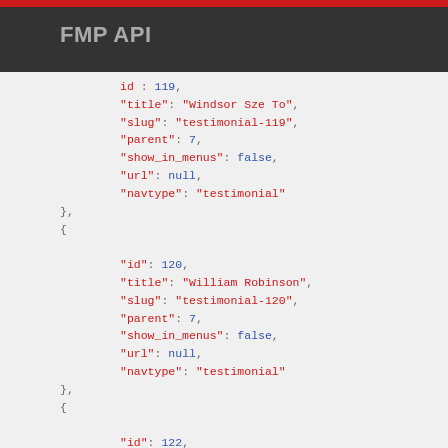FMP API
JSON API response showing testimonial entries with id, title, slug, parent, show_in_menus, url, and navtype fields for ids 119, 120, and 122 (partial).